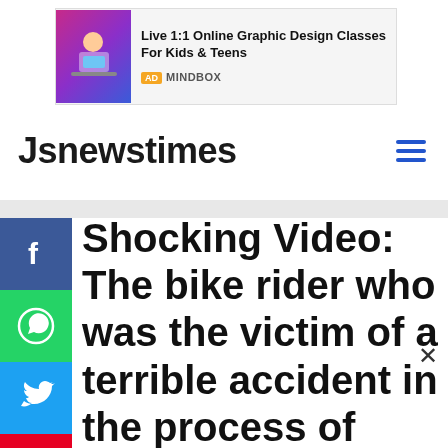[Figure (other): Advertisement banner for Mindbox: Live 1:1 Online Graphic Design Classes For Kids & Teens]
Jsnewstimes
Shocking Video: The bike rider who was the victim of a terrible accident in the process of showing the stunts, will stand up after